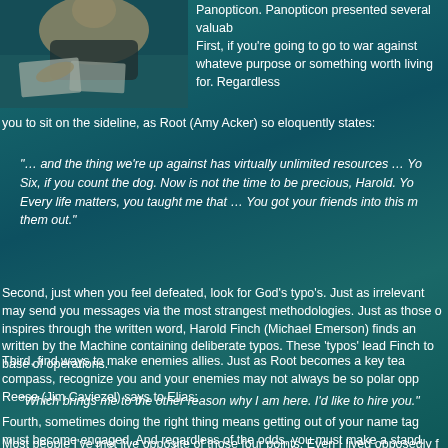[Figure (photo): A person sitting at a desk with papers, viewed from above and slightly to the side, in a dimly lit setting.]
Panopticon. Panopticon presented several valuab
First, if you're going to go to war against whateve purpose or something worth living for. Regardless you to sit on the sideline, as Root (Amy Acker) so eloquently states:
"… and the thing we're up against has virtually unlimited resources … Yo Six, if you count the dog. Now is not the time to be precious, Harold. Yo Every life matters, you taught me that … You got your friends into this m them out."
Second, just when you feel defeated, look for God's typo's. Just as irrelevant may send you messages via the most strangest methodologies. Just as those o inspires through the written word, Harold Finch (Michael Emerson) finds an written by the Machine containing deliberate typos. These 'typos' lead Finch to base of operations.
Third, find ways to make enemies allies. Just as Root becomes a key tea compass, recognize you and your enemies may not always be so polar opp Reese (Jim Caviezel) says to Elias:
"Which brings me to the other reason why I am here. I'd like to hire you."
Fourth, sometimes doing the right thing means getting out of your name tag must become engaged. And regardless of the odds, you must make a stand.
Most people I've met live opposite of those four points. Even I lived opposedly f